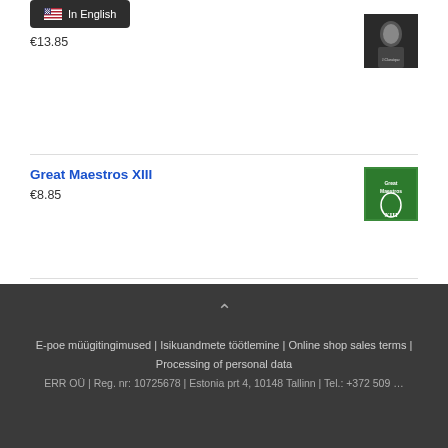[Figure (screenshot): Tooltip popup showing 'In English' text with US flag icon, overlaid on product listing]
La... ...e
€13.85
[Figure (photo): Album/product thumbnail - person portrait in dark tones]
Great Maestros XIII
€8.85
[Figure (photo): Album/product thumbnail - green colored album cover with text Great Maestros XIII]
[Figure (logo): VISA payment logo - blue and gold with border]
[Figure (logo): MasterCard payment logo - red and yellow overlapping circles on dark blue background]
[Figure (logo): PayPal payment logo in blue italic text]
E-poe müügitingimused | Isikuandmete töötlemine | Online shop sales terms | Processing of personal data
ERR OÜ | Reg. nr: 10725678 | Estonia prt 4, 10148 Tallinn | Tel.: +372 509 ...